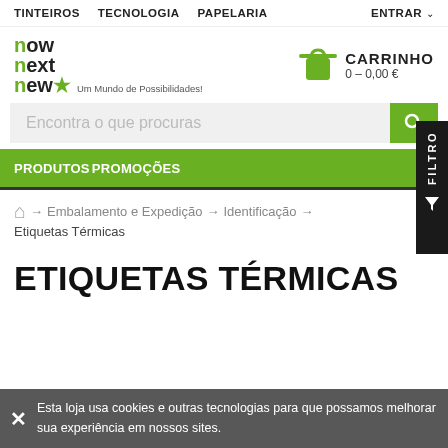TINTEIROS  TECNOLOGIA  PAPELARIA  ENTRAR
[Figure (logo): now next new star logo with tagline Um Mundo de Possibilidades!]
CARRINHO 0 - 0,00 €
Encontra o que procuras
PRODUTOS  PROMOÇÕES
🏠 → Embalamento e Expedição → Identificação →
Etiquetas Térmicas
ETIQUETAS TÉRMICAS
Esta loja usa cookies e outras tecnologias para que possamos melhorar sua experiência em nossos sites.